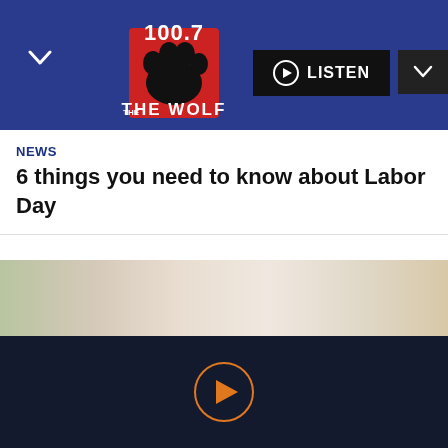[Figure (screenshot): 100.7 The Wolf radio station logo — red square with black paw print and '100.7' text above 'THE WOLF']
LISTEN
NEWS
6 things you need to know about Labor Day
[Figure (photo): Partial view of a person wearing a white towel/bathrobe, with some colorful items in the background]
View more on Instagram
1,167,785 likes
Add a comment...
[Figure (logo): Instagram camera icon]
[Figure (other): Play button circle icon with orange border at bottom dark bar]